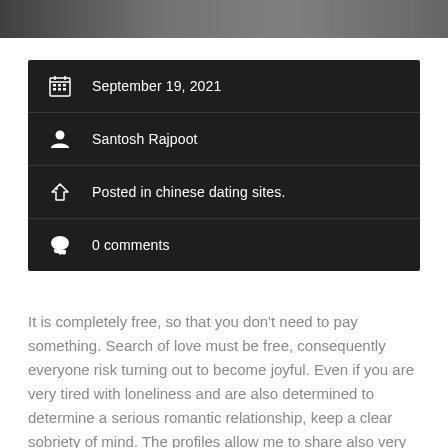[Figure (photo): Partial photo strip at top of page, showing a blurred indoor/warm-toned scene]
September 19, 2021
Santosh Rajpoot
Posted in chinese dating sites.
0 comments
It is completely free, so that you don't need to pay something. Search of love must be free, consequently everyone risk turning out to become joyful. Even if you are very tired with loneliness and are also determined to determine a serious romantic relationship, keep a clear sobriety of mind. The profiles allow me to share also very